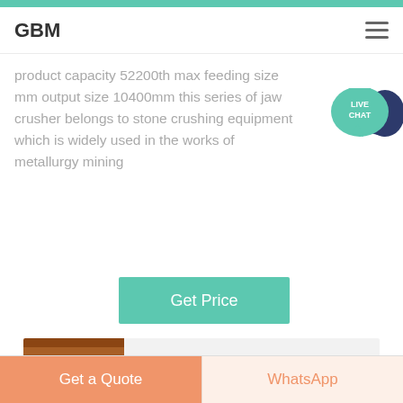GBM
product capacity 52200th max feeding size mm output size 10400mm this series of jaw crusher belongs to stone crushing equipment which is widely used in the works of metallurgy mining
[Figure (other): Live Chat button icon with teal speech bubble]
Get Price
[Figure (photo): Used Gold Ore Cone Crusher equipment photo]
Used Gold Ore Cone Crusher For Hire In Malaysia
Get a Quote
WhatsApp